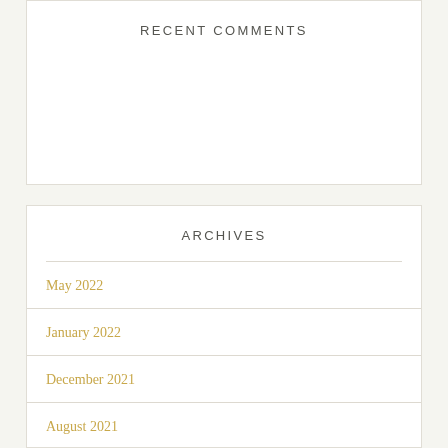RECENT COMMENTS
ARCHIVES
May 2022
January 2022
December 2021
August 2021
March 2021
March 2017